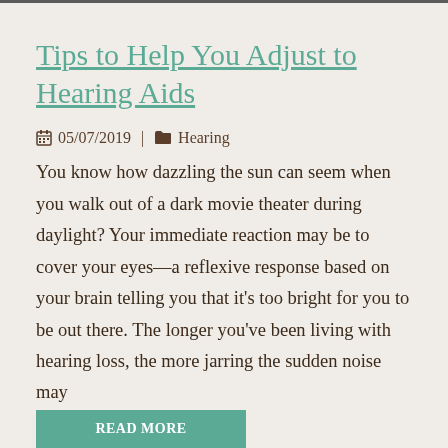Tips to Help You Adjust to Hearing Aids
05/07/2019 | Hearing
You know how dazzling the sun can seem when you walk out of a dark movie theater during daylight? Your immediate reaction may be to cover your eyes—a reflexive response based on your brain telling you that it's too bright for you to be out there. The longer you've been living with hearing loss, the more jarring the sudden noise may